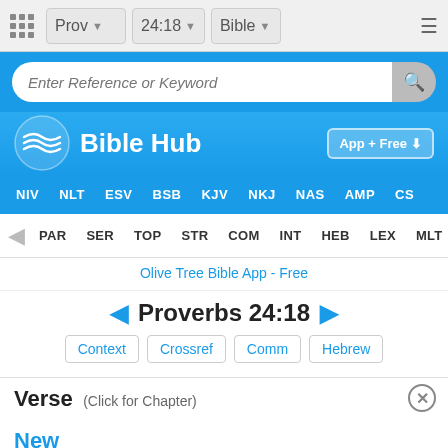Prov  24:18  Bible
Enter Reference or Keyword
[Figure (logo): Bible Hub logo with wavy lines and text 'Bible Hub', plus 'App + Free' download button]
NIV  NLT  ESV  BSB  KJV  NKJ  NAS  AMP  CS
PAR  SER  TOP  STR  COM  INT  HEB  LEX  MLT
Olive Tree Bible App - Free
◄ Proverbs 24:18 ►
Context
Crossref
Comm
Hebrew
Verse (Click for Chapter)
New
or the